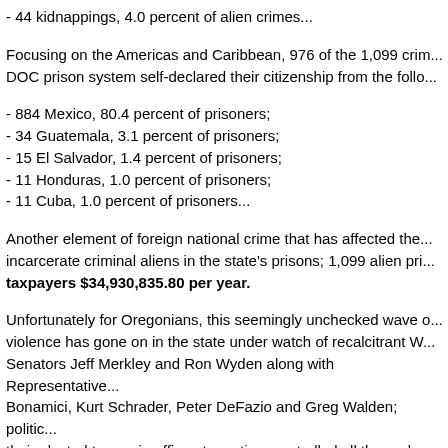- 44 kidnappings, 4.0 percent of alien crimes...
Focusing on the Americas and Caribbean, 976 of the 1,099 crim... DOC prison system self-declared their citizenship from the follo...
- 884 Mexico, 80.4 percent of prisoners;
- 34 Guatemala, 3.1 percent of prisoners;
- 15 El Salvador, 1.4 percent of prisoners;
- 11 Honduras, 1.0 percent of prisoners;
- 11 Cuba, 1.0 percent of prisoners...
Another element of foreign national crime that has affected the... incarcerate criminal aliens in the state's prisons; 1,099 alien pri... taxpayers $34,930,835.80 per year.
Unfortunately for Oregonians, this seemingly unchecked wave o... violence has gone on in the state under watch of recalcitrant W... Senators Jeff Merkley and Ron Wyden along with Representative... Bonamici, Kurt Schrader, Peter DeFazio and Greg Walden; politic... their elected tenure in office at one time controlled all three ele... Presidency, The Senate and The House of Representatives).